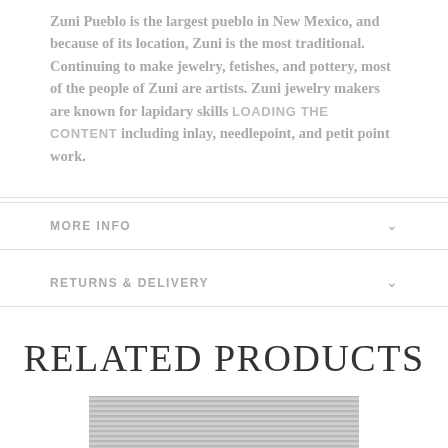Zuni Pueblo is the largest pueblo in New Mexico, and because of its location, Zuni is the most traditional. Continuing to make jewelry, fetishes, and pottery, most of the people of Zuni are artists. Zuni jewelry makers are known for lapidary skills including inlay, needlepoint, and petit point work.
MORE INFO
RETURNS & DELIVERY
RELATED PRODUCTS
[Figure (photo): Partial product image showing a wooden or stone textured surface in gray tones]